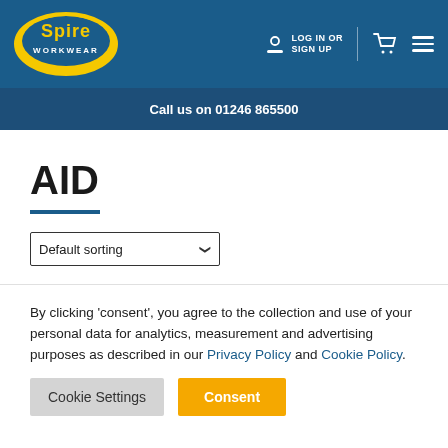[Figure (logo): Spire Workwear logo - yellow oval with blue text on dark blue navigation bar]
LOG IN OR SIGN UP
Call us on 01246 865500
AID
Default sorting
By clicking ‘consent’, you agree to the collection and use of your personal data for analytics, measurement and advertising purposes as described in our Privacy Policy and Cookie Policy.
Cookie Settings
Consent